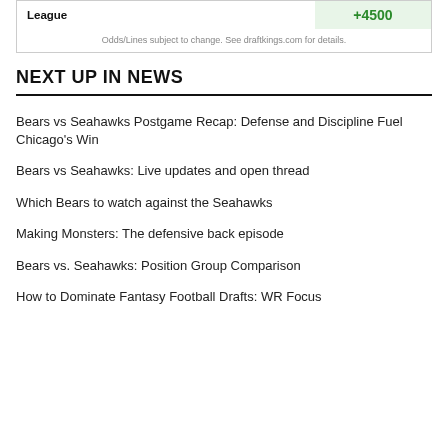| League | +4500 |
| --- | --- |
Odds/Lines subject to change. See draftkings.com for details.
NEXT UP IN NEWS
Bears vs Seahawks Postgame Recap: Defense and Discipline Fuel Chicago’s Win
Bears vs Seahawks: Live updates and open thread
Which Bears to watch against the Seahawks
Making Monsters: The defensive back episode
Bears vs. Seahawks: Position Group Comparison
How to Dominate Fantasy Football Drafts: WR Focus